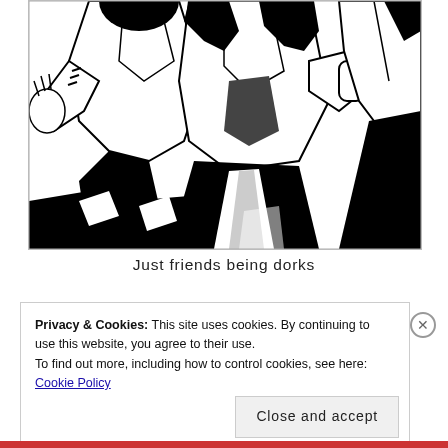[Figure (illustration): Black and white manga/anime style illustration of two characters in school uniforms/jackets, shown from waist up. One character appears to be gesturing with their hand, both have dynamic poses. The characters are drawn in a bold ink style with strong black and white contrast.]
Just friends being dorks
Privacy & Cookies: This site uses cookies. By continuing to use this website, you agree to their use.
To find out more, including how to control cookies, see here: Cookie Policy